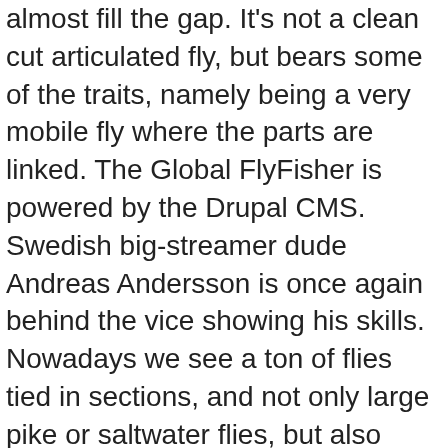almost fill the gap. It's not a clean cut articulated fly, but bears some of the traits, namely being a very mobile fly where the parts are linked. The Global FlyFisher is powered by the Drupal CMS. Swedish big-streamer dude Andreas Andersson is once again behind the vice showing his skills. Nowadays we see a ton of flies tied in sections, and not only large pike or saltwater flies, but also trout flies and even nymphs. Some large flies - especially US saltwater flies, many articulated flies and Intruder-style flies - are actually tied with surprisingly small hooks compared to the fly size. Rear Thread: White, 6/0 or 140-denier. The fly is tied as always, but before dressing the hook, you tie on a wire loop in the rear. Articulated shank: Fish-Skull Articulated Shank or similar. The fly swims, jigs, and is a fish-catching machine. Jul 21, 2015 - Explore Matthew Rowbotham's board "Feenstra's Articulated Patterns" on Pinterest. See the box on beads for more info. Since the fly is growing as you tie, and the rear eye on the current shank is